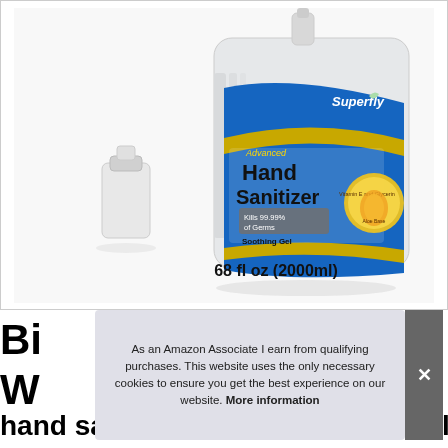[Figure (photo): Product photo of Superfly Advanced Hand Sanitizer Gel, 68 fl oz (2000ml) large jug with pump dispenser and a small empty travel bottle beside it. Label shows 'Kills 99.99% of Germs', 'Soothing Gel', 'Vitamin E and Glycerin', blue and gold label design.]
As an Amazon Associate I earn from qualifying purchases. This website uses the only necessary cookies to ensure you get the best experience on our website. More information
Big ... Wa... hand sanitizer Gel 0.5 Gallon refill with